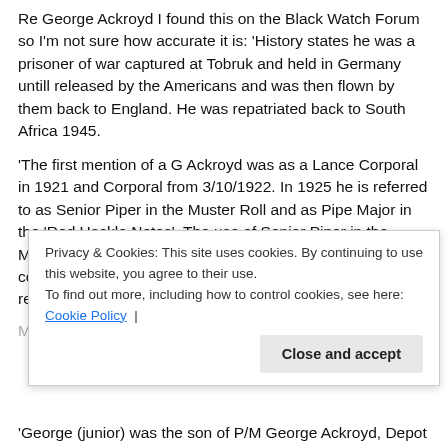Re George Ackroyd I found this on the Black Watch Forum so I'm not sure how accurate it is: 'History states he was a prisoner of war captured at Tobruk and held in Germany untill released by the Americans and was then flown by them back to England. He was repatriated back to South Africa 1945.
'The first mention of a G Ackroyd was as a Lance Corporal in 1921 and Corporal from 3/10/1922. In 1925 he is referred to as Senior Piper in the Muster Roll and as Pipe Major in the 'Red Hackle Notes'. The use of Senior Piper in the Muster Roll and Pipe Major in the Red Hackle Notes continued until the Muster Roll of January 1929 when he is referred to as Pipe Major. He left the Battalion in 1929 to go to the Regiment Depot...
Privacy & Cookies: This site uses cookies. By continuing to use this website, you agree to their use. To find out more, including how to control cookies, see here: Cookie Policy | Close and accept
'George (junior) was the son of P/M George Ackroyd, Depot